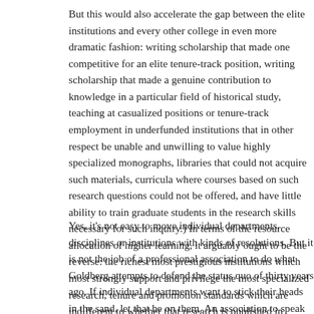But this would also accelerate the gap between the elite institu­tions and every other college in even more dramatic fashion: writing scholarship that made one competitive for an elite tenure-track position, writing scholarship that made a genuine contribution to knowledge in a particular field of historical study, teaching at casualized positions or tenure-track employment in underfunded institutions that in other respect be unable and unwilling to value highly specialized monographs, libraries that could not acquire such materials, curricula where courses based on such research questions could not be offered, and have little ability to train graduate students in the research skills necessary for such inquiry.) In terms of the resource allocation of higher learning, it arguably ought to be the reverse: the richest most prestigious institutions which most strongly support and privilege the most specialized research, tenure and promotion standards which are indifferent to whether that research is published in physical form.
Yes, it's not easy to move individual departments, disciplines or institutions with kinds of resolutions. But it is not the job of a professional association to do what Goldberg attempts to defend the status quo of thirty years ago. If individual departments want to stick their heads in the sand, let that be on them. An association claiming to speak for an entire discipline's future has to do better than that.